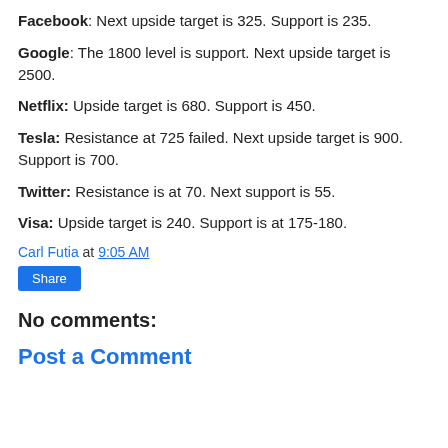Facebook: Next upside target is 325. Support is 235.
Google: The 1800 level is support. Next upside target is 2500.
Netflix: Upside target is 680. Support is 450.
Tesla: Resistance at 725 failed. Next upside target is 900. Support is 700.
Twitter: Resistance is at 70. Next support is 55.
Visa: Upside target is 240. Support is at 175-180.
Carl Futia at 9:05 AM
Share
No comments:
Post a Comment